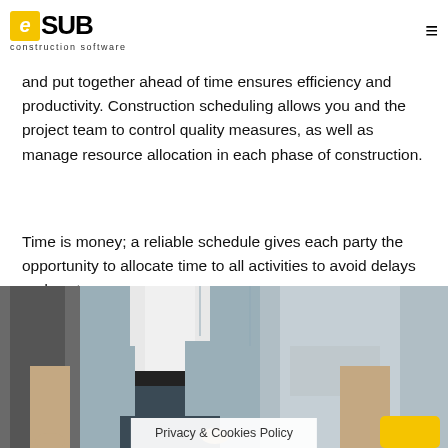eSUB construction software
and put together ahead of time ensures efficiency and productivity. Construction scheduling allows you and the project team to control quality measures, as well as manage resource allocation in each phase of construction.
Time is money; a reliable schedule gives each party the opportunity to allocate time to all activities to avoid delays and cost overruns.
[Figure (photo): Construction workers in hard hats and work clothing, shown from torso down, on a construction site.]
Privacy & Cookies Policy